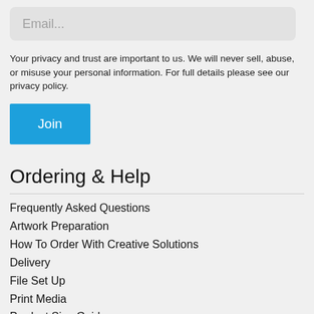[Figure (screenshot): Email input field placeholder]
Your privacy and trust are important to us. We will never sell, abuse, or misuse your personal information. For full details please see our privacy policy.
[Figure (screenshot): Blue 'Join' button]
Ordering & Help
Frequently Asked Questions
Artwork Preparation
How To Order With Creative Solutions
Delivery
File Set Up
Print Media
Product Size Guide
Paper Sizes Guide
Contact Us